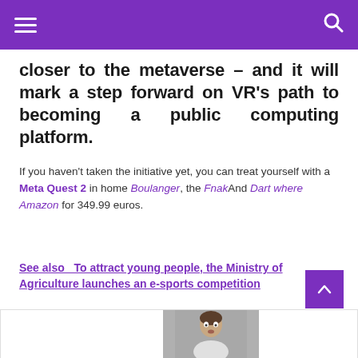closer to the metaverse – and it will mark a step forward on VR's path to becoming a public computing platform.
If you haven't taken the initiative yet, you can treat yourself with a Meta Quest 2 in home Boulanger, the FnakAnd Dart where Amazon for 349.99 euros.
See also  To attract young people, the Ministry of Agriculture launches an e-sports competition
See also: Good tip OCULUS QUEST 2128 GB: instant 20 € discount and 33 € voucher as a bonus
[Figure (photo): Partial view of a woman with brown hair looking surprised or shocked, photo cropped at bottom of page]